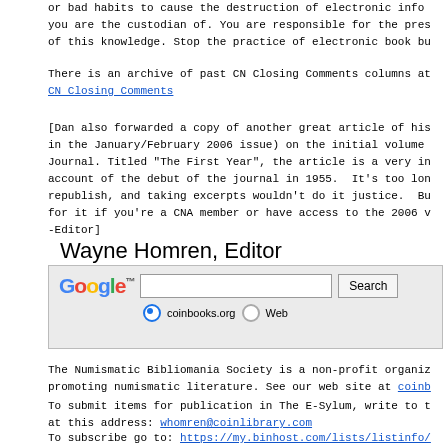or bad habits to cause the destruction of electronic info you are the custodian of. You are responsible for the pres of this knowledge. Stop the practice of electronic book bu
There is an archive of past CN Closing Comments columns at
CN Closing Comments
[Dan also forwarded a copy of another great article of his in the January/February 2006 issue) on the initial volume Journal. Titled "The First Year", the article is a very in account of the debut of the journal in 1955. It's too lon republish, and taking excerpts wouldn't do it justice. Bu for it if you're a CNA member or have access to the 2006 v -Editor]
Wayne Homren, Editor
[Figure (other): Google search box widget with coinbooks.org and Web radio button options]
The Numismatic Bibliomania Society is a non-profit organiz promoting numismatic literature. See our web site at coinb
To submit items for publication in The E-Sylum, write to t at this address: whomren@coinlibrary.com
To subscribe go to: https://my.binhost.com/lists/listinfo/
Copyright © 2005 The Numismatic Bibliom ania S ocie ty